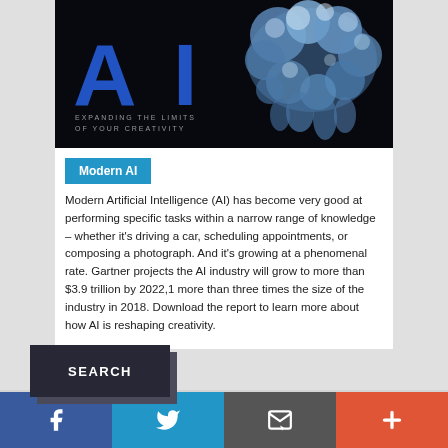[Figure (illustration): Hero banner image with large 'AI' text in blue on dark background with subtitle 'EXPANDING THE LIMITS OF YOUR CREATIVITY' and a blue crystalline brain graphic on the right]
Modern AI
Modern Artificial Intelligence (AI) has become very good at performing specific tasks within a narrow range of knowledge – whether it's driving a car, scheduling appointments, or composing a photograph. And it's growing at a phenomenal rate. Gartner projects the AI industry will grow to more than $3.9 trillion by 2022,1 more than three times the size of the industry in 2018. Download the report to learn more about how AI is reshaping creativity.
[Figure (screenshot): SEARCH button in dark navy on gray background]
[Figure (infographic): Social media bar with Facebook, Twitter, email/envelope, and plus icons in blue, cyan, gray, and orange-red buttons]